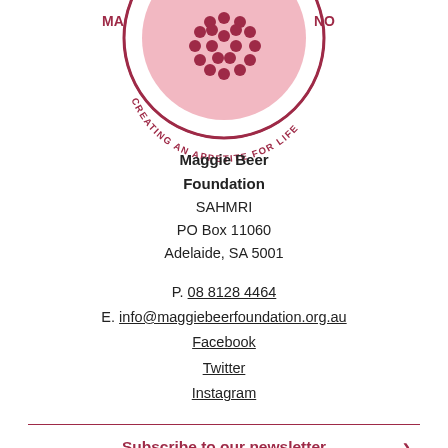[Figure (logo): Maggie Beer Foundation circular logo with pomegranate image and text 'CREATING AN APPETITE FOR LIFE' around the edge, partially cropped at top]
Maggie Beer Foundation
SAHMRI
PO Box 11060
Adelaide, SA 5001
P. 08 8128 4464
E. info@maggiebeerfoundation.org.au
Facebook
Twitter
Instagram
Subscribe to our newsletter